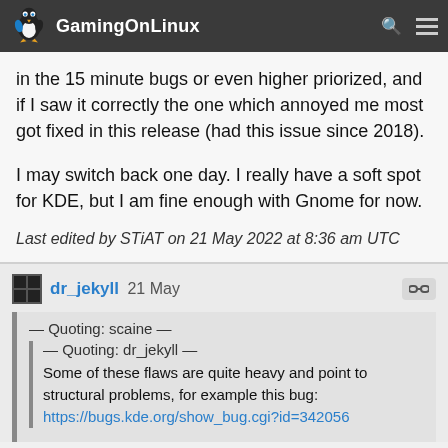GamingOnLinux
in the 15 minute bugs or even higher priorized, and if I saw it correctly the one which annoyed me most got fixed in this release (had this issue since 2018).

I may switch back one day. I really have a soft spot for KDE, but I am fine enough with Gnome for now.
Last edited by STiAT on 21 May 2022 at 8:36 am UTC
dr_jekyll 21 May
— Quoting: scaine —
— Quoting: dr_jekyll —
Some of these flaws are quite heavy and point to structural problems, for example this bug:
https://bugs.kde.org/show_bug.cgi?id=342056